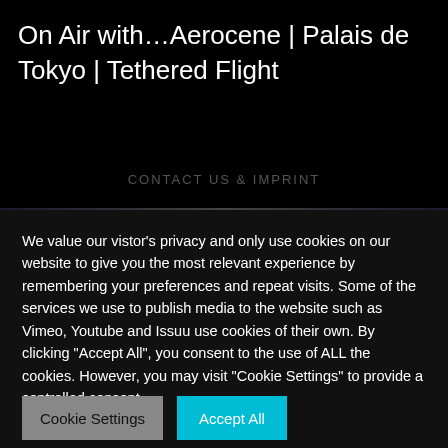On Air with…Aerocene | Palais de Tokyo | Tethered Flight
CONTACT US & IMPRINT
We value our vistor's privacy and only use cookies on our website to give you the most relevant experience by remembering your preferences and repeat visits. Some of the services we use to publish media to the website such as Vimeo, Youtube and Issuu use cookies of their own. By clicking "Accept All", you consent to the use of ALL the cookies. However, you may visit "Cookie Settings" to provide a controlled consent.